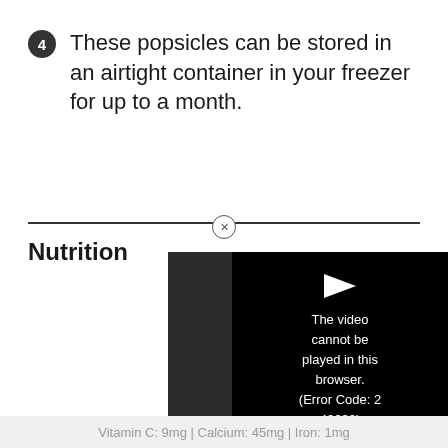4  These popsicles can be stored in an airtight container in your freezer for up to a month.
Nutrition
Calories: 181
Protein: 2g | F[at...]
Polyunsaturate[d...]
Fat: 3g | Sodiu[m...]
Fiber: 2g | Su[gar...]
[Figure (screenshot): Video player overlay showing error message: 'The video cannot be played in this browser. (Error Code: 2 42632)']
Vitamin C: 9mg | Calcium: 45mg | Iron: 1mg